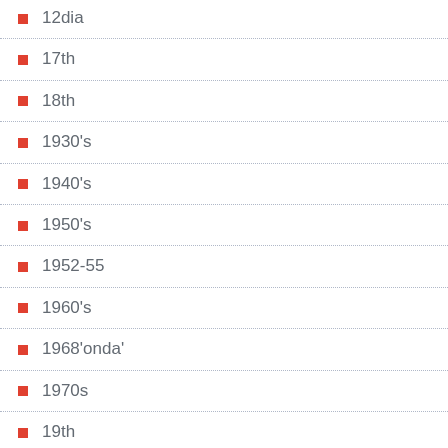12dia
17th
18th
1930's
1940's
1950's
1952-55
1960's
1968'onda'
1970s
19th